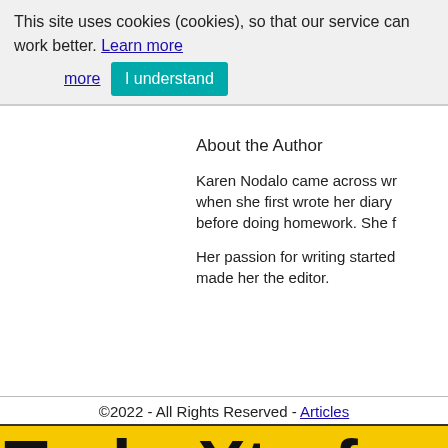This site uses cookies (cookies), so that our service can work better. Learn more
About the Author
Karen Nodalo came across wr when she first wrote her diary before doing homework. She f
Her passion for writing started made her the editor.
©2022 - All Rights Reserved - Articles
[Figure (logo): TurboXtraf logo — yellow background with large black bold text]
SiteMap.xml  SiteMap.html  SiteMap.txt  SiteMapror.xml